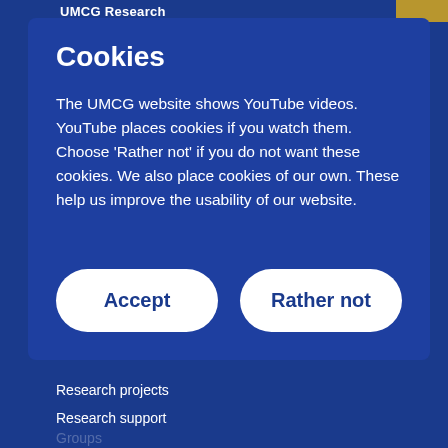UMCG Research
Cookies
The UMCG website shows YouTube videos. YouTube places cookies if you watch them. Choose ‘Rather not’ if you do not want these cookies. We also place cookies of our own. These help us improve the usability of our website.
Accept
Rather not
Research projects
Research support